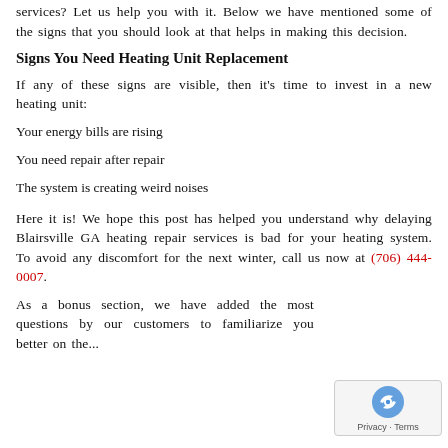services? Let us help you with it. Below we have mentioned some of the signs that you should look at that helps in making this decision.
Signs You Need Heating Unit Replacement
If any of these signs are visible, then it's time to invest in a new heating unit:
Your energy bills are rising
You need repair after repair
The system is creating weird noises
Here it is! We hope this post has helped you understand why delaying Blairsville GA heating repair services is bad for your heating system. To avoid any discomfort for the next winter, call us now at (706) 444-0007.
As a bonus section, we have added the most questions by our customers to familiarize you better on the...